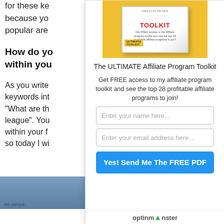for these ke... because you... popular are...
How do yo... within you...
As you write... keywords in... "What are th... league". You... within your f... so today I wi...
[Figure (illustration): The ULTIMATE Affiliate Program Toolkit box shown on a yellow background]
The ULTIMATE Affiliate Program Toolkit
Get FREE access to my affiliate program toolkit and see the top 28 profitable affiliate programs to join!
Enter your name here...
Enter your email address here...
Yes! Send Me The FREE PDF
[Figure (logo): OptinMonster logo at the bottom of the popup]
[Figure (photo): Partial image visible at bottom left, appears to show an aircraft]
No compatible source was found for this media.